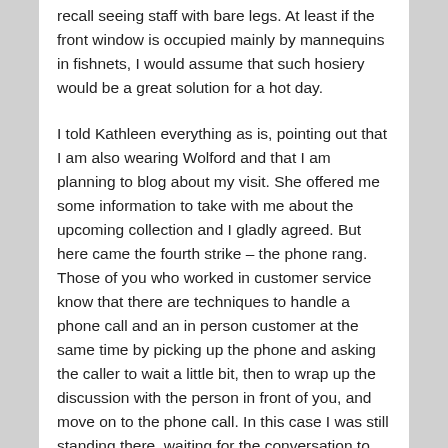recall seeing staff with bare legs. At least if the front window is occupied mainly by mannequins in fishnets, I would assume that such hosiery would be a great solution for a hot day.
I told Kathleen everything as is, pointing out that I am also wearing Wolford and that I am planning to blog about my visit. She offered me some information to take with me about the upcoming collection and I gladly agreed. But here came the fourth strike – the phone rang. Those of you who worked in customer service know that there are techniques to handle a phone call and an in person customer at the same time by picking up the phone and asking the caller to wait a little bit, then to wrap up the discussion with the person in front of you, and move on to the phone call. In this case I was still standing there, waiting for the conversation to come to an end so I could get that promised brochure.
That moment I saw my guy turn up at the door looking for me, so I was about to leave and Kathleen caught up to me and gave me that brochure to take home. I haven't seen